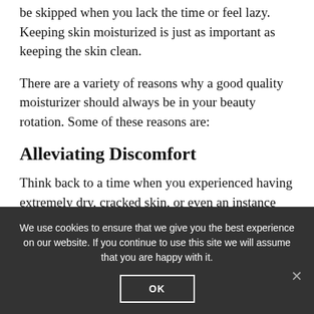be skipped when you lack the time or feel lazy. Keeping skin moisturized is just as important as keeping the skin clean.
There are a variety of reasons why a good quality moisturizer should always be in your beauty rotation. Some of these reasons are:
Alleviating Discomfort
Think back to a time when you experienced having extremely dry, cracked skin, or even an instance
We use cookies to ensure that we give you the best experience on our website. If you continue to use this site we will assume that you are happy with it.
OK